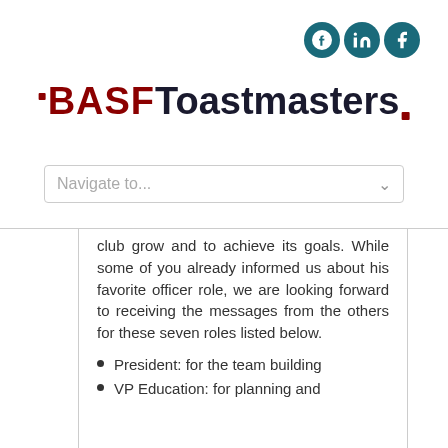[Figure (logo): Social media icons: Google+, LinkedIn, Facebook in dark teal circles]
BASF Toastmasters
Navigate to...
club grow and to achieve its goals. While some of you already informed us about his favorite officer role, we are looking forward to receiving the messages from the others for these seven roles listed below.
President: for the team building
VP Education: for planning and